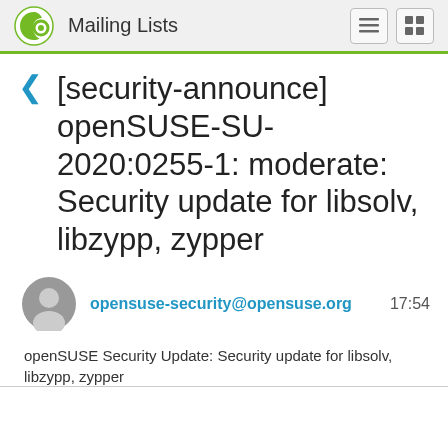Mailing Lists
[security-announce] openSUSE-SU-2020:0255-1: moderate: Security update for libsolv, libzypp, zypper
opensuse-security@opensuse.org   17:54
openSUSE Security Update: Security update for libsolv, libzypp, zypper